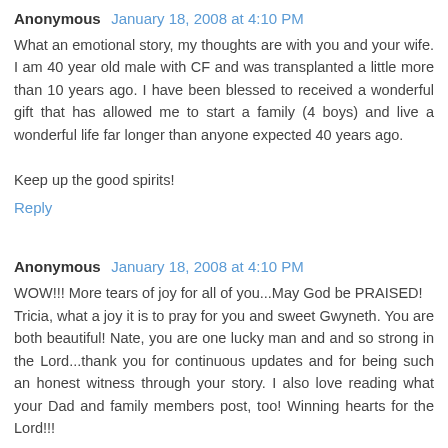Anonymous  January 18, 2008 at 4:10 PM
What an emotional story, my thoughts are with you and your wife. I am 40 year old male with CF and was transplanted a little more than 10 years ago. I have been blessed to received a wonderful gift that has allowed me to start a family (4 boys) and live a wonderful life far longer than anyone expected 40 years ago.

Keep up the good spirits!
Reply
Anonymous  January 18, 2008 at 4:10 PM
WOW!!! More tears of joy for all of you...May God be PRAISED!
Tricia, what a joy it is to pray for you and sweet Gwyneth. You are both beautiful! Nate, you are one lucky man and and so strong in the Lord...thank you for continuous updates and for being such an honest witness through your story. I also love reading what your Dad and family members post, too! Winning hearts for the Lord!!!